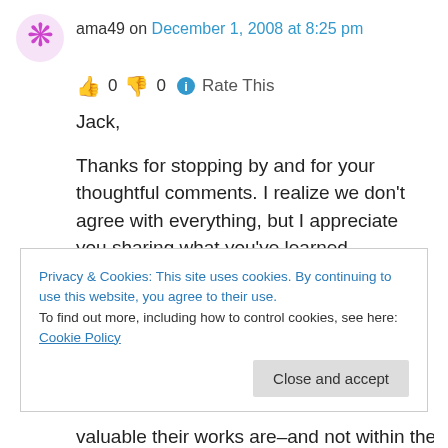ama49 on December 1, 2008 at 8:25 pm
👍 0 👎 0 ℹ Rate This
Jack,
Thanks for stopping by and for your thoughtful comments. I realize we don't agree with everything, but I appreciate you sharing what you've learned.
I really appreciate your following comments:
Privacy & Cookies: This site uses cookies. By continuing to use this website, you agree to their use.
To find out more, including how to control cookies, see here: Cookie Policy
valuable their works are–and not within the